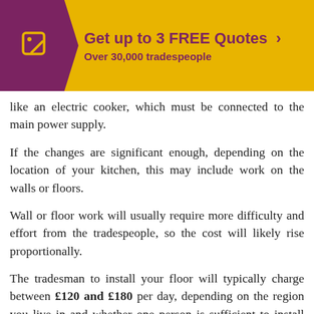[Figure (infographic): Yellow banner with purple chevron shape on left containing a tag icon, and text 'Get up to 3 FREE Quotes >' with subtitle 'Over 30,000 tradespeople']
like an electric cooker, which must be connected to the main power supply.
If the changes are significant enough, depending on the location of your kitchen, this may include work on the walls or floors.
Wall or floor work will usually require more difficulty and effort from the tradespeople, so the cost will likely rise proportionally.
The tradesman to install your floor will typically charge between £120 and £180 per day, depending on the region you live in and whether one person is sufficient to install your floor.